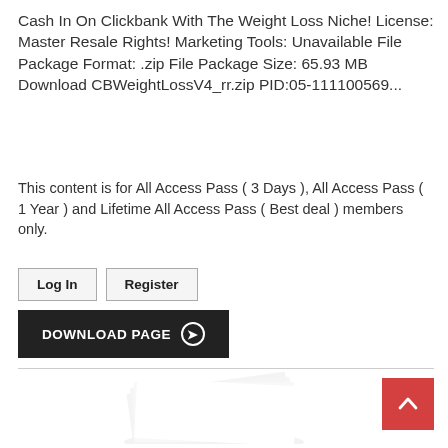Cash In On Clickbank With The Weight Loss Niche! License: Master Resale Rights! Marketing Tools: Unavailable File Package Format: .zip File Package Size: 65.93 MB Download CBWeightLossV4_rr.zip PID:05-111100569...
This content is for All Access Pass ( 3 Days ), All Access Pass ( 1 Year ) and Lifetime All Access Pass ( Best deal ) members only.
Log In
Register
DOWNLOAD PAGE →
[Figure (illustration): Stack of white papers or book pages fanned out, visible at the bottom of the page]